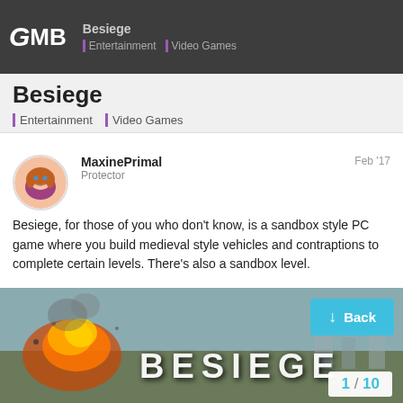GMB | Besiege | Entertainment | Video Games
Besiege
Entertainment | Video Games
MaxinePrimal
Protector
Feb '17
Besiege, for those of you who don't know, is a sandbox style PC game where you build medieval style vehicles and contraptions to complete certain levels. There's also a sandbox level.
Here we talk about the game, and post pictures of cool creations you've made. You can also use this website 2 to share the things that you've made. Be sure to leave a link in your post.
[Figure (screenshot): Besiege game promotional image showing an explosion on the left with fire and debris, and the BESIEGE logo text on the right. A blue 'Back' button overlays the top right, and a '1 / 10' pagination indicator appears at the bottom right.]